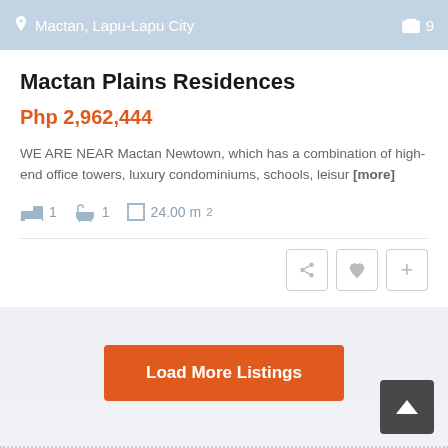Mactan, Lapu-Lapu City  📷 9
Mactan Plains Residences
Php 2,962,444
WE ARE NEAR Mactan Newtown, which has a combination of high-end office towers, luxury condominiums, schools, leisur [more]
1  1  24.00 m²
Load More Listings